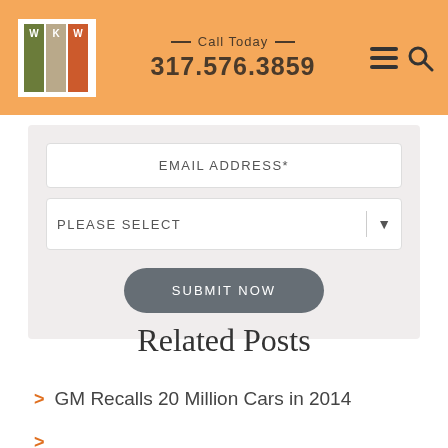Call Today 317.576.3859
[Figure (logo): WKW logo with three colored columns (green, tan, orange) and white letters W, K, W]
EMAIL ADDRESS*
PLEASE SELECT
SUBMIT NOW
Related Posts
GM Recalls 20 Million Cars in 2014